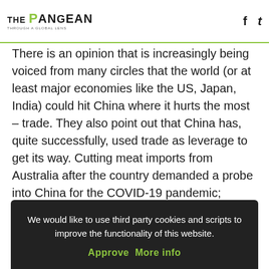THE PANGEAN
of agreement to promote and protect the interests and competitiveness the world
There is an opinion that is increasingly being voiced from many circles that the world (or at least major economies like the US, Japan, India) could hit China where it hurts the most – trade. They also point out that China has, quite successfully, used trade as leverage to get its way. Cutting meat imports from Australia after the country demanded a probe into China for the COVID-19 pandemic; threatening Canada after a key Huawei official was arrested are cases in point. However, this strategy might not
We would like to use third party cookies and scripts to improve the functionality of this website.
Approve  More info
other major powers, owing to its cheap and